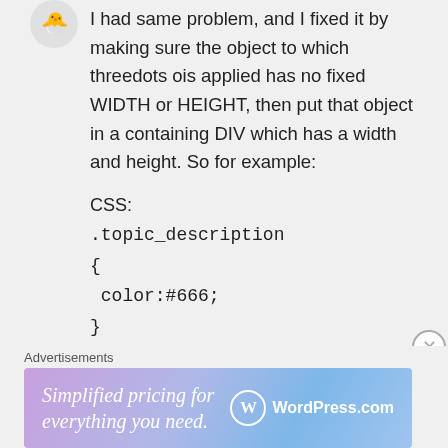[Figure (illustration): User avatar icon showing a cartoon poop emoji in pink/brown colors]
I had same problem, and I fixed it by making sure the object to which threedots ois applied has no fixed WIDTH or HEIGHT, then put that object in a containing DIV which has a width and height. So for example:
CSS:
.topic_description
{
color:#666;
}
.containDiv
Advertisements
[Figure (screenshot): WordPress.com advertisement banner with gradient background reading 'Simplified pricing for everything you need.' with WordPress.com logo]